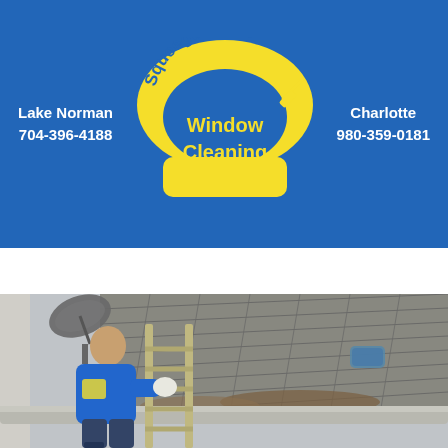[Figure (logo): Squeegee Pros Window Cleaning company logo - yellow arc badge with blue text on blue background header]
Lake Norman
704-396-4188
Charlotte
980-359-0181
Gift Cards
[Figure (photo): Worker in blue shirt on ladder cleaning gutters on a roof with shingles and a satellite dish visible]
[Figure (logo): GFH Overall Rating badge - dark background with GFH logo and text 'Overall Rating']